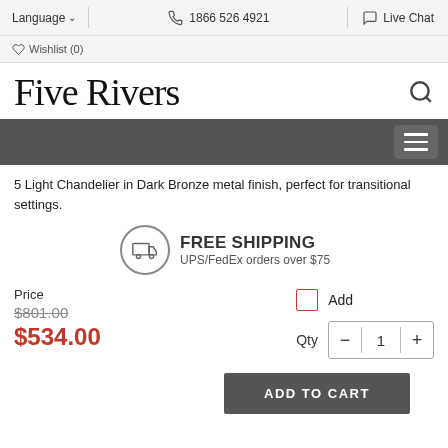Language ∨   1866 526 4921   Live Chat   ♡ Wishlist (0)
Five Rivers
[Figure (other): Dark gray navigation bar with hamburger menu button (three horizontal lines)]
5 Light Chandelier in Dark Bronze metal finish, perfect for transitional settings.
FREE SHIPPING UPS/FedEx orders over $75
Price $801.00 $534.00
Add Qty - 1 +
ADD TO CART